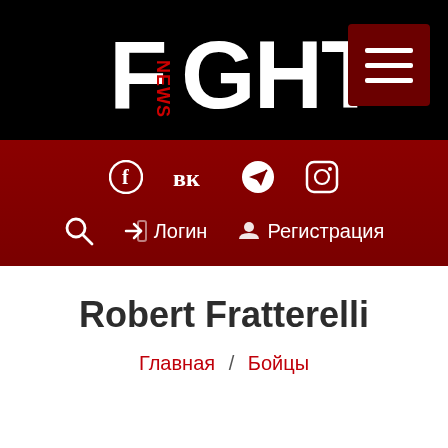FIGHT NEWS logo header with hamburger menu
[Figure (logo): FIGHT NEWS logo in white text on black background with hamburger menu button on right]
[Figure (infographic): Social media icons row: Facebook, VK, Telegram, Instagram on dark red background, with search icon, Login and Registration navigation items below]
Robert Fratterelli
Главная / Бойцы